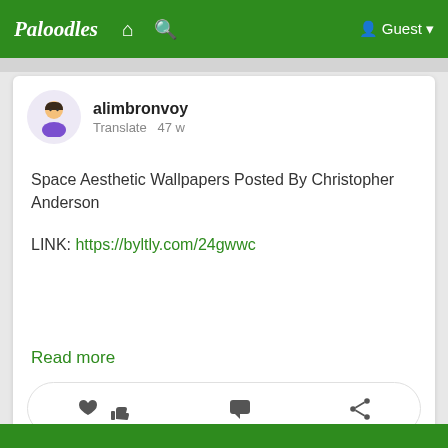Paloodles  🏠  🔍  👤 Guest
alimbronvoy
Translate  47 w
Space Aesthetic Wallpapers Posted By Christopher Anderson
LINK: https://byltly.com/24gwwc
Read more